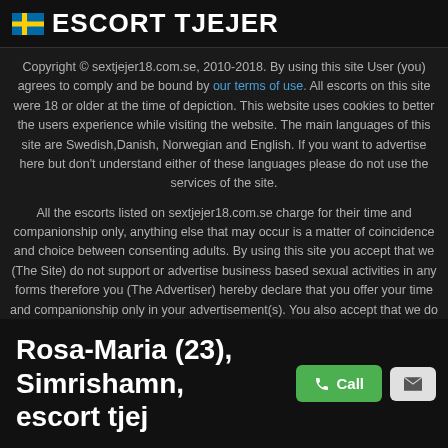ESCORT TJEJER
Copyright © sextjejer18.com.se, 2010-2018. By using this site User (you) agrees to comply and be bound by our terms of use. All escorts on this site were 18 or older at the time of depiction. This website uses cookies to better the users experience while visiting the website. The main languages of this site are Swedish,Danish, Norwegian and English. If you want to advertise here but don't understand either of these languages please do not use the services of the site.
All the escorts listed on sextjejer18.com.se charge for their time and companionship only, anything else that may occur is a matter of coincidence and choice between consenting adults. By using this site you accept that we (The Site) do not support or advertise business based sexual activities in any forms therefore you (The Advertiser) hereby declare that you offer your time and companionship only in your advertisement(s). You also accept that we do not support any forms of sexual activited based business partnerships therefore every advertiser on this site must be an independent individual. Say NO to human trafficking.
Rosa-Maria (23), Simrishamn, escort tjej